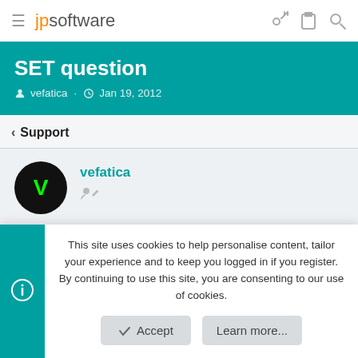jpsoftware
SET question
vefatica · Jan 19, 2012
< Support
vefatica
This site uses cookies to help personalise content, tailor your experience and to keep you logged in if you register. By continuing to use this site, you are consenting to our use of cookies.
Accept   Learn more...